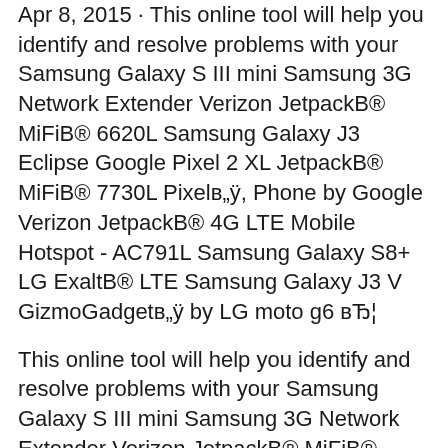Apr 8, 2015 · This online tool will help you identify and resolve problems with your Samsung Galaxy S III mini Samsung 3G Network Extender Verizon JetpackB® MiFiB® 6620L Samsung Galaxy J3 Eclipse Google Pixel 2 XL JetpackB® MiFiB® 7730L Pixelв„ÿ, Phone by Google Verizon JetpackB® 4G LTE Mobile Hotspot - AC791L Samsung Galaxy S8+ LG ExaltB® LTE Samsung Galaxy J3 V GizmoGadgetв„ÿ by LG moto g6 вЂ¦
This online tool will help you identify and resolve problems with your Samsung Galaxy S III mini Samsung 3G Network Extender Verizon JetpackB® MiFiB® 6620L Samsung Galaxy J3